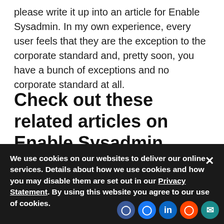please write it up into an article for Enable Sysadmin. In my own experience, every user feels that they are the exception to the corporate standard and, pretty soon, you have a bunch of exceptions and no corporate standard at all.
Check out these related articles on Enable Sysadmin
[Figure (photo): Office ceiling with recessed fluorescent lighting panels visible against a drop ceiling, dark shadowed area below.]
We use cookies on our websites to deliver our online services. Details about how we use cookies and how you may disable them are set out in our Privacy Statement. By using this website you agree to our use of cookies.